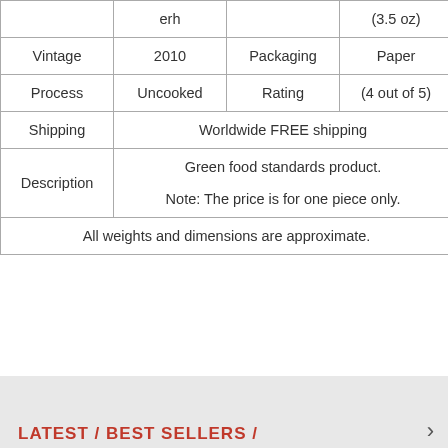| erh |  | (3.5 oz) |
| Vintage | 2010 | Packaging | Paper |
| Process | Uncooked | Rating | (4 out of 5) |
| Shipping | Worldwide FREE shipping |
| Description | Green food standards product.
Note: The price is for one piece only. |
| All weights and dimensions are approximate. |
LATEST / BEST SELLERS /